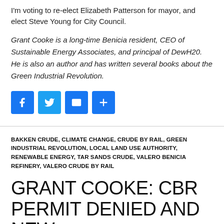I'm voting to re-elect Elizabeth Patterson for mayor, and elect Steve Young for City Council.
Grant Cooke is a long-time Benicia resident, CEO of Sustainable Energy Associates, and principal of DewH20. He is also an author and has written several books about the Green Industrial Revolution.
[Figure (infographic): Four blue social media sharing icons: Facebook, Twitter, Email, and Share (plus sign)]
BAKKEN CRUDE, CLIMATE CHANGE, CRUDE BY RAIL, GREEN INDUSTRIAL REVOLUTION, LOCAL LAND USE AUTHORITY, RENEWABLE ENERGY, TAR SANDS CRUDE, VALERO BENICIA REFINERY, VALERO CRUDE BY RAIL
GRANT COOKE: CBR PERMIT DENIED AND NEW